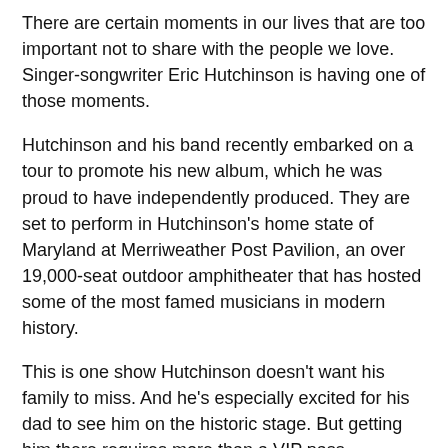There are certain moments in our lives that are too important not to share with the people we love. Singer-songwriter Eric Hutchinson is having one of those moments.
Hutchinson and his band recently embarked on a tour to promote his new album, which he was proud to have independently produced. They are set to perform in Hutchinson's home state of Maryland at Merriweather Post Pavilion, an over 19,000-seat outdoor amphitheater that has hosted some of the most famed musicians in modern history.
This is one show Hutchinson doesn't want his family to miss. And he's especially excited for his dad to see him on the historic stage. But getting him there requires more than a VIP pass.
Before Hutchinson was big enough to pick up a guitar, his dad was diagnosed with an adult-onset form of muscular